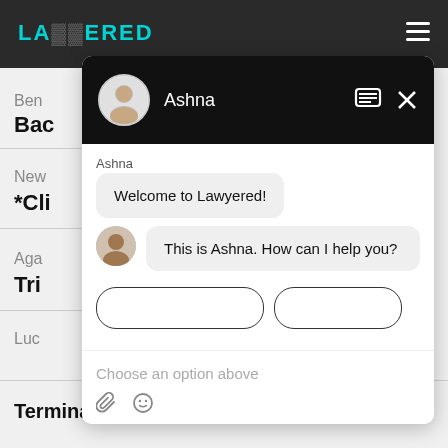[Figure (screenshot): Lawyered website with a chat widget overlay. The chat widget shows an agent named Ashna with messages: 'Welcome to Lawyered!' and 'This is Ashna. How can I help you?' with a 'Choose an option above' input placeholder.]
Ben
Bac
New
*Cli
Aga
Tri
Luc
Termination of services